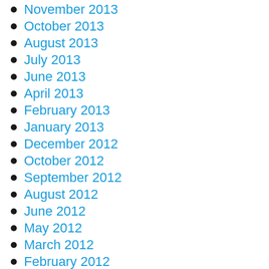November 2013
October 2013
August 2013
July 2013
June 2013
April 2013
February 2013
January 2013
December 2012
October 2012
September 2012
August 2012
June 2012
May 2012
March 2012
February 2012